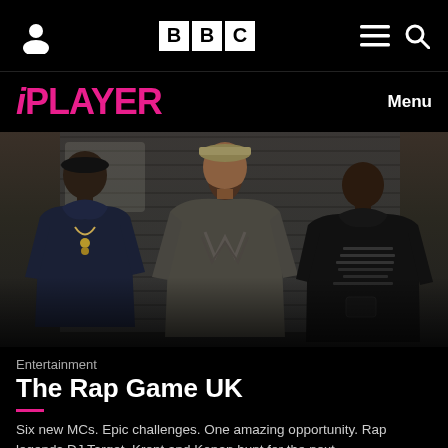BBC iPlayer
[Figure (photo): Three men standing in front of an urban background with metal shutters and graffiti. Left man wears a dark blue hoodie with a chain necklace. Centre man wears a khaki cap and grey printed sweatshirt. Right man wears a black hoodie with text print.]
Entertainment
The Rap Game UK
Six new MCs. Epic challenges. One amazing opportunity. Rap legends DJ Target, Krept and Konan hunt for the next